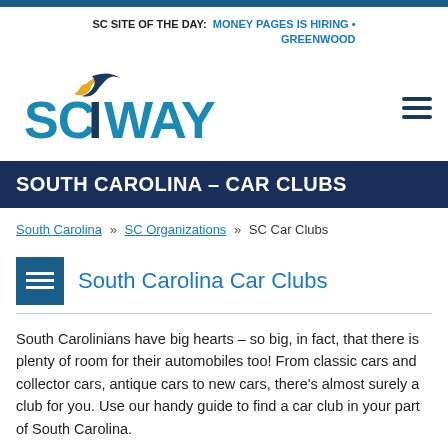SC SITE OF THE DAY: MONEY PAGES IS HIRING • GREENWOOD
[Figure (logo): SCIWAY logo with yellow crescent moon and blue wave above the text SCIWAY in teal/blue letters]
SOUTH CAROLINA – CAR CLUBS
South Carolina » SC Organizations » SC Car Clubs
South Carolina Car Clubs
South Carolinians have big hearts – so big, in fact, that there is plenty of room for their automobiles too! From classic cars and collector cars, antique cars to new cars, there's almost surely a club for you. Use our handy guide to find a car club in your part of South Carolina.